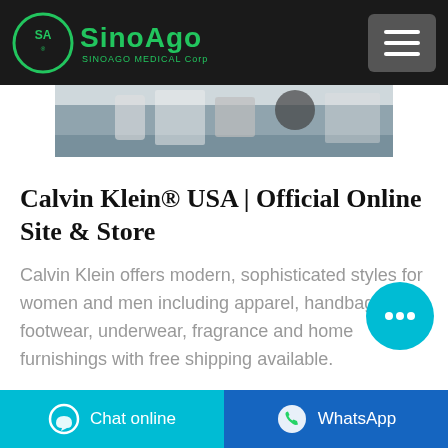SINOAGO MEDICAL Corp
[Figure (photo): Partial photo showing medical/packaging supplies on a shelf or table]
Calvin Klein® USA | Official Online Site & Store
Calvin Klein offers modern, sophisticated styles for women and men including apparel, handbags, footwear, underwear, fragrance and home furnishings with free shipping available.
[Figure (other): Cyan chat bubble button with ellipsis icon]
Chat online   WhatsApp